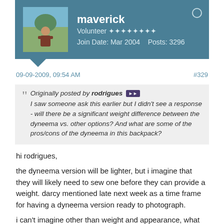[Figure (other): User profile header with avatar photo of a man outdoors, username maverick, role Volunteer with stars, join date Mar 2004, 3296 posts, online indicator circle]
09-09-2009, 09:54 AM
#329
Originally posted by rodrigues
I saw someone ask this earlier but I didn't see a response - will there be a significant weight difference between the dyneema vs. other options? And what are some of the pros/cons of the dyneema in this backpack?
hi rodrigues,
the dyneema version will be lighter, but i imagine that they will likely need to sew one before they can provide a weight. darcy mentioned late next week as a time frame for having a dyneema version ready to photograph.
i can't imagine other than weight and appearance, what other differences there might be.